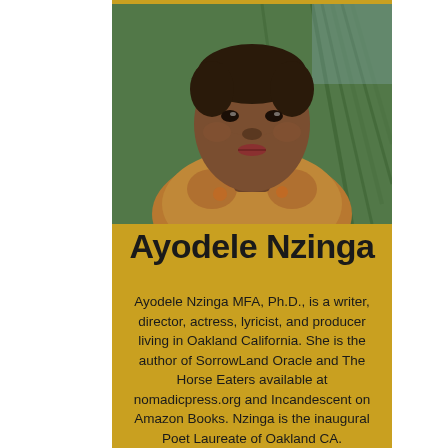[Figure (photo): Portrait photo of Ayodele Nzinga, a woman wearing a colorful floral patterned jacket, with green foliage in the background.]
Ayodele Nzinga
Ayodele Nzinga MFA, Ph.D., is a writer, director, actress, lyricist, and producer living in Oakland California. She is the author of SorrowLand Oracle and The Horse Eaters available at nomadicpress.org and Incandescent on Amazon Books. Nzinga is the inaugural Poet Laureate of Oakland CA.